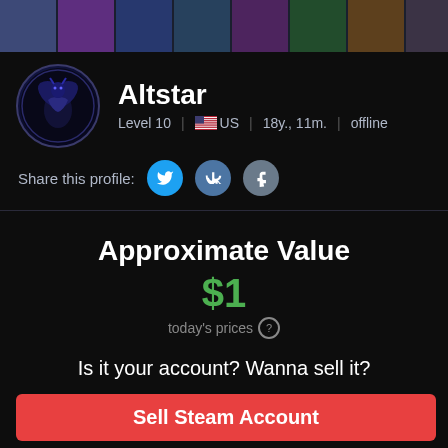[Figure (screenshot): Top banner strip with game character thumbnails]
Altstar
Level 10 | US | 18y., 11m. | offline
Share this profile:
Approximate Value
$1
today's prices
Is it your account? Wanna sell it?
Sell Steam Account
Profile data is taken from the SteamID cache and is currently being updated. This usually takes less than 30 seconds.